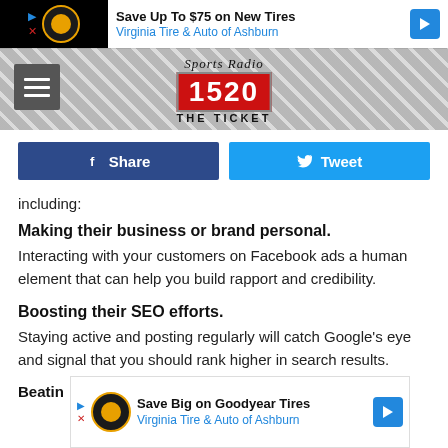[Figure (screenshot): Top advertisement banner: Save Up To $75 on New Tires - Virginia Tire & Auto of Ashburn]
[Figure (logo): Sports Radio 1520 The Ticket navigation header with hamburger menu]
[Figure (screenshot): Social share buttons: Facebook Share and Twitter Tweet]
including:
Making their business or brand personal.
Interacting with your customers on Facebook ads a human element that can help you build rapport and credibility.
Boosting their SEO efforts.
Staying active and posting regularly will catch Google's eye and signal that you should rank higher in search results.
[Figure (screenshot): Bottom advertisement: Save Big on Goodyear Tires - Virginia Tire & Auto of Ashburn]
Beatin
Your s